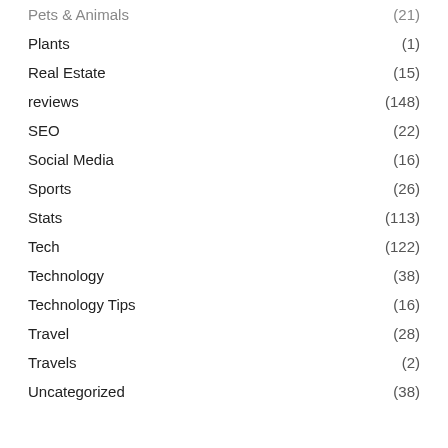Pets & Animals (21)
Plants (1)
Real Estate (15)
reviews (148)
SEO (22)
Social Media (16)
Sports (26)
Stats (113)
Tech (122)
Technology (38)
Technology Tips (16)
Travel (28)
Travels (2)
Uncategorized (38)